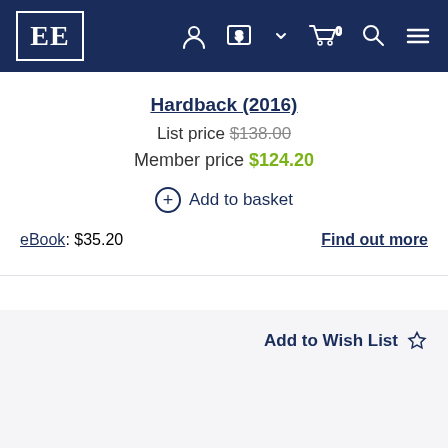EE [logo navigation bar with account, currency, cart (0), search, menu icons]
Hardback (2016)
List price $138.00
Member price $124.20
+ Add to basket
eBook: $35.20   Find out more
Add to Wish List ☆